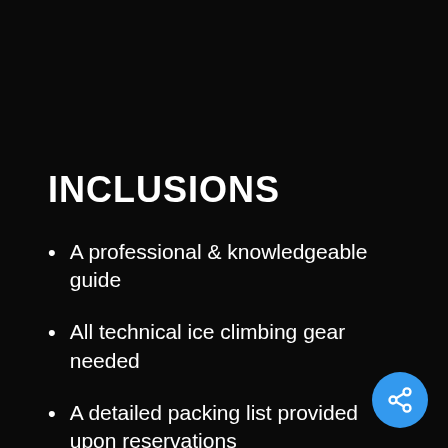INCLUSIONS
A professional & knowledgeable guide
All technical ice climbing gear needed
A detailed packing list provided upon reservations
[Figure (illustration): Blue circular share button with share icon in bottom-right corner]